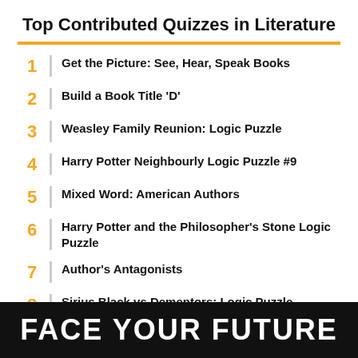Top Contributed Quizzes in Literature
1  Get the Picture: See, Hear, Speak Books
2  Build a Book Title 'D'
3  Weasley Family Reunion: Logic Puzzle
4  Harry Potter Neighbourly Logic Puzzle #9
5  Mixed Word: American Authors
6  Harry Potter and the Philosopher's Stone Logic Puzzle
7  Author's Antagonists
8  Sirius Black vs Dementors: Logic Puzzle
9
[Figure (illustration): Black banner at bottom reading FACE YOUR FUTURE in white bold uppercase letters on black background]